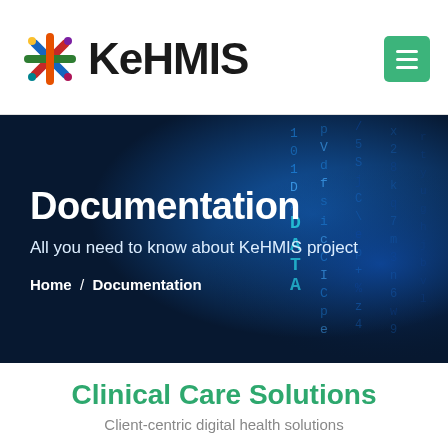KeHMIS
[Figure (screenshot): KeHMIS website screenshot showing Documentation page header with dark blue data/matrix background image, title 'Documentation', subtitle 'All you need to know about KeHMIS project', and breadcrumb 'Home / Documentation']
Clinical Care Solutions
Client-centric digital health solutions